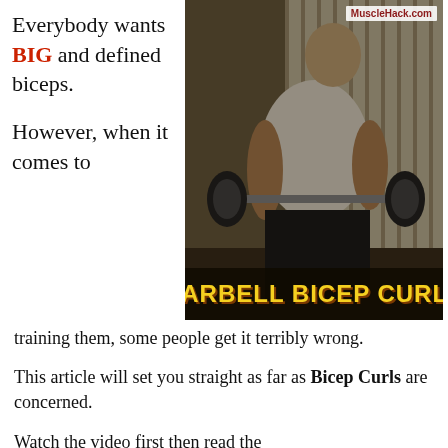Everybody wants BIG and defined biceps.
However, when it comes to
[Figure (photo): Man performing barbell bicep curls in a gym with vertical blinds in background. Text overlay at bottom reads BARBELL BICEP CURLS in bold yellow letters. Watermark: MuscleHack.com]
training them, some people get it terribly wrong.
This article will set you straight as far as Bicep Curls are concerned.
Watch the video first then read the